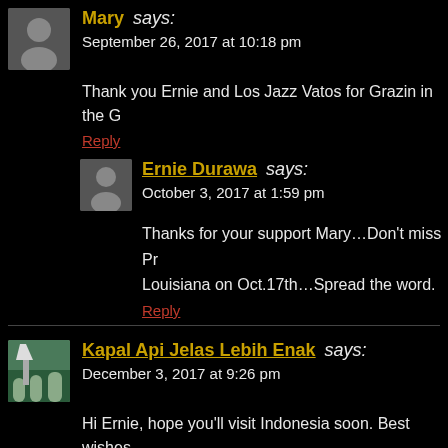Mary says: September 26, 2017 at 10:18 pm
Thank you Ernie and Los Jazz Vatos for Grazin in the G
Reply
Ernie Durawa says: October 3, 2017 at 1:59 pm
Thanks for your support Mary…Don't miss Pr Louisiana on Oct.17th…Spread the word.
Reply
Kapal Api Jelas Lebih Enak says: December 3, 2017 at 9:26 pm
Hi Ernie, hope you'll visit Indonesia soon. Best wishes
Reply